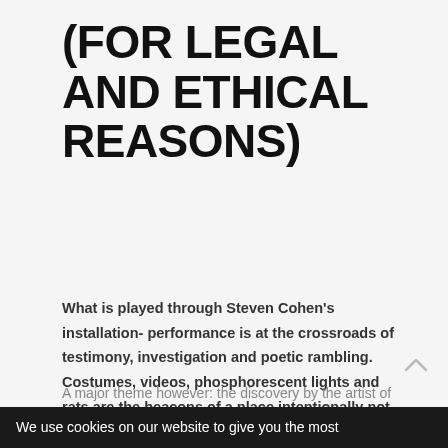(FOR LEGAL AND ETHICAL REASONS)
What is played through Steven Cohen's installation- performance is at the crossroads of testimony, investigation and poetic rambling. Costumes, videos, phosphorescent lights and rats are the beacons of a place intentionally not situated in terms of periods and continents, on the edge of history and imagination.
A major theme however: the discovery by the artist of a diary, made up of writings and
We use cookies on our website to give you the most